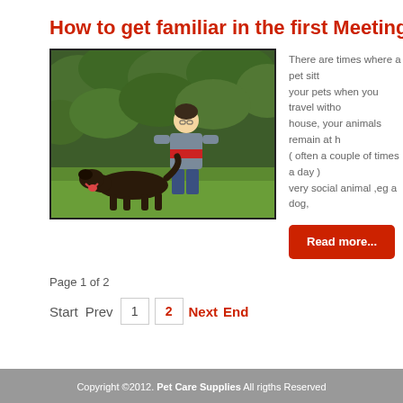How to get familiar in the first Meeting W
[Figure (photo): A boy playing outdoors with a dark brown dog (Labrador) in front of green foliage/hedge. The dog appears to be running or playing excitedly.]
There are times where a pet sitt your pets when you travel witho house, your animals remain at h ( often a couple of times a day ) very social animal ,eg a dog,
Read more...
Page 1 of 2
Start  Prev  1  2  Next  End
Copyright ©2012. Pet Care Supplies All rigths Reserved